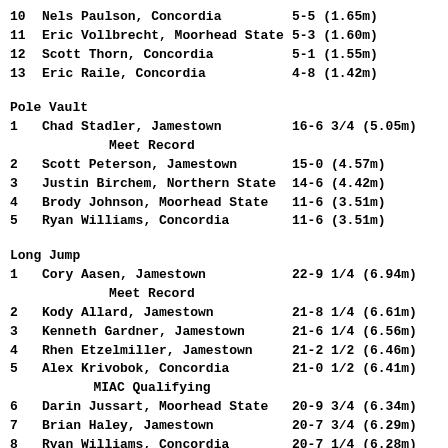10   Nels Paulson, Concordia         5-5 (1.65m)
11   Eric Vollbrecht, Moorhead State 5-3 (1.60m)
12   Scott Thorn, Concordia          5-1 (1.55m)
13   Eric Raile, Concordia           4-8 (1.42m)
Pole Vault
1    Chad Stadler, Jamestown         16-6 3/4 (5.05m)
Meet Record
2    Scott Peterson, Jamestown       15-0 (4.57m)
3    Justin Birchem, Northern State  14-6 (4.42m)
4    Brody Johnson, Moorhead State   11-6 (3.51m)
5    Ryan Williams, Concordia        11-6 (3.51m)
Long Jump
1    Cory Aasen, Jamestown           22-9 1/4 (6.94m)
Meet Record
2    Kody Allard, Jamestown          21-8 1/4 (6.61m)
3    Kenneth Gardner, Jamestown      21-6 1/4 (6.56m)
4    Rhen Etzelmiller, Jamestown     21-2 1/2 (6.46m)
5    Alex Krivobok, Concordia        21-0 1/2 (6.41m)
MIAC Qualifying
6    Darin Jussart, Moorhead State   20-9 3/4 (6.34m)
7    Brian Haley, Jamestown          20-7 3/4 (6.29m)
8    Ryan Williams, Concordia        20-7 1/4 (6.28m)
9    Nate Rosa, Moorhead State       20-0 1/4 (6.10m)
10   Jeff Clairmont, Concordia       19-11 3/4 (6.09m)
11   Shawn Barnett, Northern State   19-6 3/4 (5.96m)
12   Jason Clairmont, Concordia      19-6 (5.94m)
13   Kody Moore, Moorhead State      19-5 1/2 (5.93m)
14   Doug Paulson, Concordia         19-0 3/4 (5.81m)